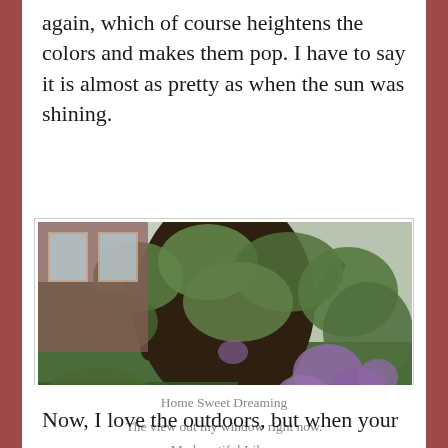again, which of course heightens the colors and makes them pop. I have to say it is almost as pretty as when the sun was shining.
[Figure (photo): A photograph of a lilac tree with purple flowers and green leaves, viewed from a window. A brick building is visible in the background on the left, and greenery fills the rest of the scene.]
Home Sweet Dreaming
The view out my window right now.
My beautiful Lilacs
Now, I love the outdoors, but when your